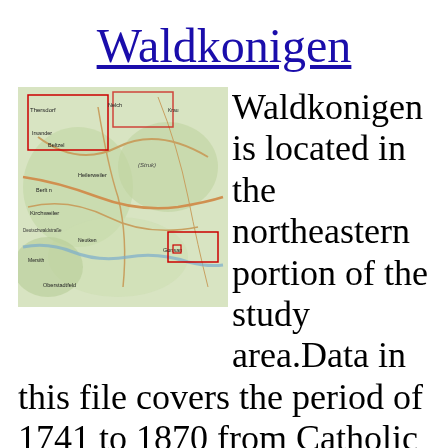Waldkonigen
[Figure (map): Topographic map showing the northeastern portion of the study area including towns such as Kirchweiler, Oberstadtfeld, and surrounding region.]
Waldkonigen is located in the northeastern portion of the study area.Data in this file covers the period of 1741 to 1870 from Catholic Church records in the area. The four closest towns around Waldkonigen are Kirschweiler.